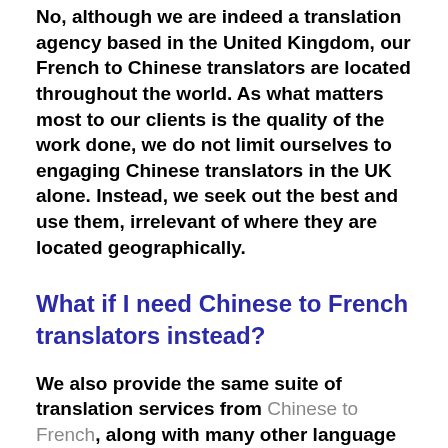No, although we are indeed a translation agency based in the United Kingdom, our French to Chinese translators are located throughout the world. As what matters most to our clients is the quality of the work done, we do not limit ourselves to engaging Chinese translators in the UK alone. Instead, we seek out the best and use them, irrelevant of where they are located geographically.
What if I need Chinese to French translators instead?
We also provide the same suite of translation services from Chinese to French, along with many other language pairs. There are very few Chinese translation agencies in the United Kingdom that can offer the range of languages that Translator UK has covered. If you cannot find the language or languages that you require, please do not hesitate to contact us and one of our translation project managers will discuss your specific needs directly.